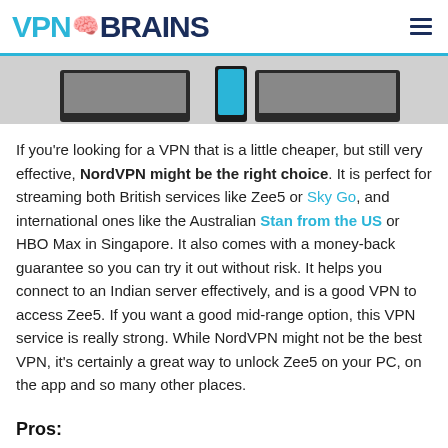VPN BRAINS
[Figure (photo): Partial image of laptop and phone/tablet devices on a grey background, cropped at top]
If you're looking for a VPN that is a little cheaper, but still very effective, NordVPN might be the right choice. It is perfect for streaming both British services like Zee5 or Sky Go, and international ones like the Australian Stan from the US or HBO Max in Singapore. It also comes with a money-back guarantee so you can try it out without risk. It helps you connect to an Indian server effectively, and is a good VPN to access Zee5. If you want a good mid-range option, this VPN service is really strong. While NordVPN might not be the best VPN, it's certainly a great way to unlock Zee5 on your PC, on the app and so many other places.
Pros: